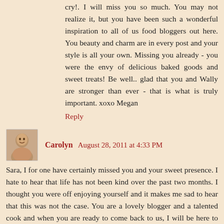cry!. I will miss you so much. You may not realize it, but you have been such a wonderful inspiration to all of us food bloggers out here. You beauty and charm are in every post and your style is all your own. Missing you already - you were the envy of delicious baked goods and sweet treats! Be well.. glad that you and Wally are stronger than ever - that is what is truly important. xoxo Megan
Reply
Carolyn August 28, 2011 at 4:33 PM
Sara, I for one have certainly missed you and your sweet presence. I hate to hear that life has not been kind over the past two months. I thought you were off enjoying yourself and it makes me sad to hear that this was not the case. You are a lovely blogger and a talented cook and when you are ready to come back to us, I will be here to read every word.
Reply
Kim - Liv Life August 28, 2011 at 4:48 PM